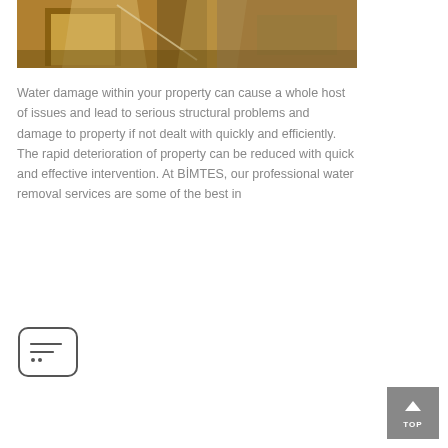[Figure (photo): Construction or excavation site photo showing wooden framing or scaffolding with dirt and water damage visible]
Water damage within your property can cause a whole host of issues and lead to serious structural problems and damage to property if not dealt with quickly and efficiently. The rapid deterioration of property can be reduced with quick and effective intervention. At BİMTES, our professional water removal services are some of the best in
[Figure (other): Menu/list icon button with rounded rectangle border containing three horizontal lines and dots]